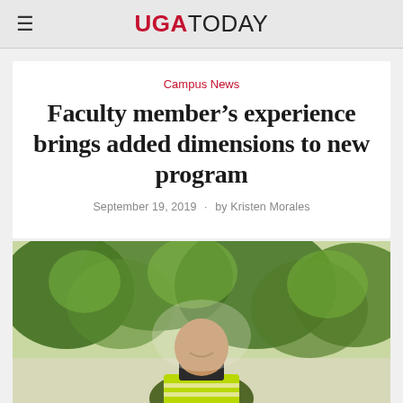UGA TODAY
Campus News
Faculty member’s experience brings added dimensions to new program
September 19, 2019 · by Kristen Morales
[Figure (photo): A smiling bald man wearing a yellow/green safety vest with reflective stripes, standing outdoors in front of trees with green foliage.]